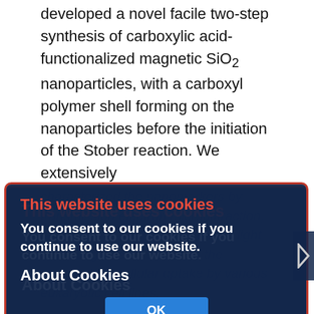developed a novel facile two-step synthesis of carboxylic acid-functionalized magnetic SiO2 nanoparticles, with a carboxyl polymer shell forming on the nanoparticles before the initiation of the Stober reaction. We extensively
characterized the nanomarkers by transmission electron microdiffraction, and dynamic and electrophoretic light scattering. We also studied the nanoparticle cellular uptake by various eukaryotic cell lines.
magnetic nanoparticles, surface modification, magnetic detection, silicium dioxide, cell labeling
[Figure (screenshot): Cookie consent modal overlay with dark navy blue background and orange/red border. Contains heading 'This website uses cookies' in red, body text 'You consent to our cookies if you continue to use our website.' in white bold, section header 'About Cookies' in white bold, and a blue 'OK' button.]
Full Text
INTRODUCTION There is growing interest at the moment in the use of nanoparticles as